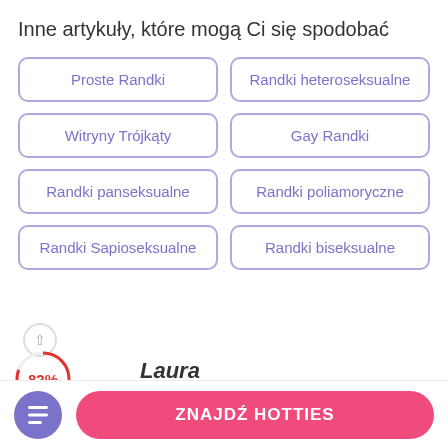Inne artykuły, które mogą Ci się spodobać
Proste Randki
Randki heteroseksualne
Witryny Trójkąty
Gay Randki
Randki panseksualne
Randki poliamoryczne
Randki Sapioseksualne
Randki biseksualne
82%
Laura
ZNAJDŹ HOTTIES